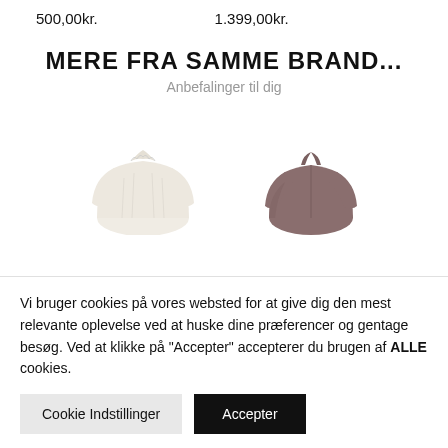500,00kr.   1.399,00kr.
MERE FRA SAMME BRAND...
Anbefalinger til dig
[Figure (photo): White blouse shirt with collar, product photo on white background]
[Figure (photo): Brown/mauve shirt with collar, product photo on white background]
Vi bruger cookies på vores websted for at give dig den mest relevante oplevelse ved at huske dine præferencer og gentage besøg. Ved at klikke på "Accepter" accepterer du brugen af ALLE cookies.
Cookie Indstillinger   Accepter